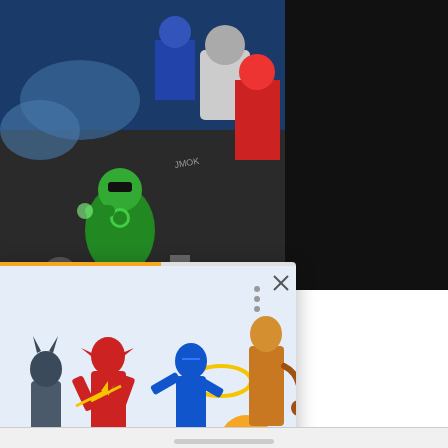[Figure (illustration): Comic book artwork showing Green Lantern and other DC superheroes in action poses, with dark background]
Justice League
Sinclair (Harley
[Figure (screenshot): Popup card overlay showing McFarlane Toys action figures (Batman, Flash, Blue Beetle, and another character) with orange progress bar at top, three-dots menu, close X button, orange arrow navigation button, and bold title text]
McFarlane Toysannounces7-inchInjustic...